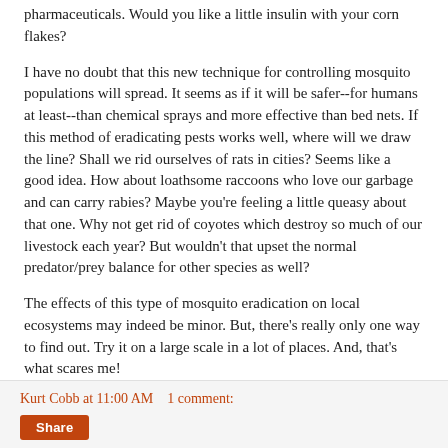pharmaceuticals. Would you like a little insulin with your corn flakes?
I have no doubt that this new technique for controlling mosquito populations will spread. It seems as if it will be safer--for humans at least--than chemical sprays and more effective than bed nets. If this method of eradicating pests works well, where will we draw the line? Shall we rid ourselves of rats in cities? Seems like a good idea. How about loathsome raccoons who love our garbage and can carry rabies? Maybe you're feeling a little queasy about that one. Why not get rid of coyotes which destroy so much of our livestock each year? But wouldn't that upset the normal predator/prey balance for other species as well?
The effects of this type of mosquito eradication on local ecosystems may indeed be minor. But, there's really only one way to find out. Try it on a large scale in a lot of places. And, that's what scares me!
Kurt Cobb at 11:00 AM   1 comment: